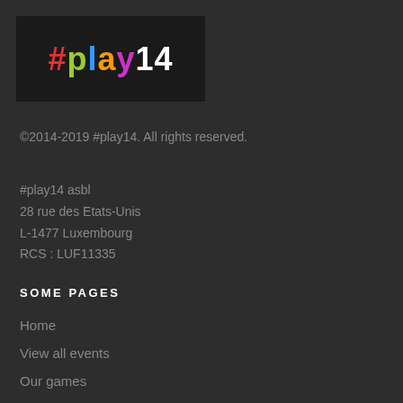[Figure (logo): #play14 logo on black background with colored letters]
©2014-2019 #play14. All rights reserved.
#play14 asbl
28 rue des Etats-Unis
L-1477 Luxembourg
RCS : LUF11335
SOME PAGES
Home
View all events
Our games
Follow our blog
Contact us